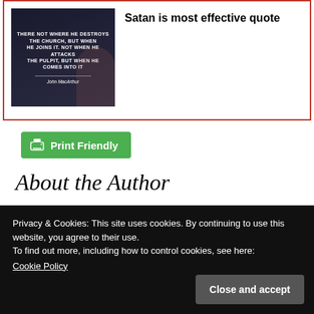[Figure (illustration): Dark themed image with text about Satan and the church, attributed to John MacArthur]
Satan is most effective quote
[Figure (other): Green Print Friendly button with printer icon]
About the Author
Privacy & Cookies: This site uses cookies. By continuing to use this website, you agree to their use.
To find out more, including how to control cookies, see here:
Cookie Policy
Close and accept